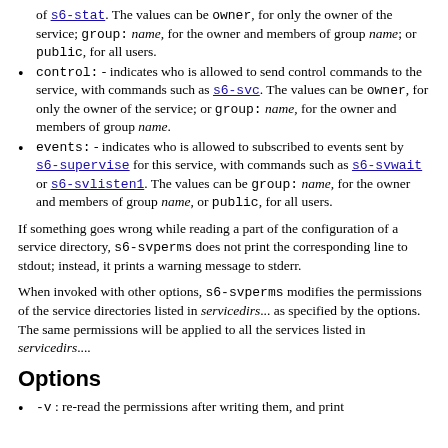of s6-stat. The values can be owner, for only the owner of the service; group: name, for the owner and members of group name; or public, for all users.
control: - indicates who is allowed to send control commands to the service, with commands such as s6-svc. The values can be owner, for only the owner of the service; or group: name, for the owner and members of group name.
events: - indicates who is allowed to subscribed to events sent by s6-supervise for this service, with commands such as s6-svwait or s6-svlisten1. The values can be group: name, for the owner and members of group name, or public, for all users.
If something goes wrong while reading a part of the configuration of a service directory, s6-svperms does not print the corresponding line to stdout; instead, it prints a warning message to stderr.
When invoked with other options, s6-svperms modifies the permissions of the service directories listed in servicedirs... as specified by the options. The same permissions will be applied to all the services listed in servicedirs....
Options
-v : re-read the permissions after writing them, and print